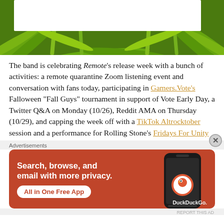[Figure (photo): Top banner photo of green palm fronds with a white overlay rectangle in the upper portion, partially visible article header image]
The band is celebrating Remote's release week with a bunch of activities: a remote quarantine Zoom listening event and conversation with fans today, participating in Gamers.Vote's Falloween "Fall Guys" tournament in support of Vote Early Day, a Twitter Q&A on Monday (10/26), Reddit AMA on Thursday (10/29), and capping the week off with a TikTok Altrocktober session and a performance for Rolling Stone's Fridays For Unity
Advertisements
[Figure (screenshot): DuckDuckGo advertisement banner: orange/red background with white bold text 'Search, browse, and email with more privacy.' and 'All in One Free App' button, showing a phone with DuckDuckGo logo]